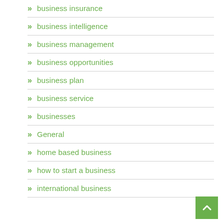business insurance
business intelligence
business management
business opportunities
business plan
business service
businesses
General
home based business
how to start a business
international business